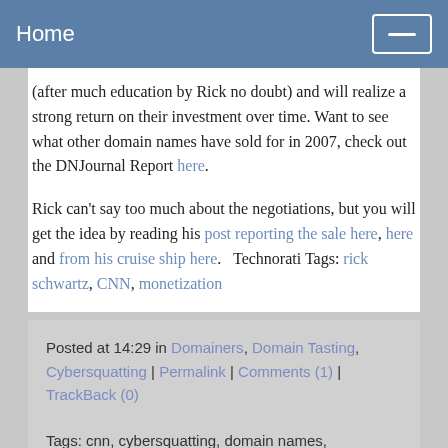Home
(after much education by Rick no doubt) and will realize a strong return on their investment over time. Want to see what other domain names have sold for in 2007, check out the DNJournal Report here.
Rick can't say too much about the negotiations, but you will get the idea by reading his post reporting the sale here, here and from his cruise ship here.   Technorati Tags: rick schwartz, CNN, monetization
Posted at 14:29 in Domainers, Domain Tasting, Cybersquatting | Permalink | Comments (1) | TrackBack (0)
Tags: cnn, cybersquatting, domain names, monetization, rick schwartz